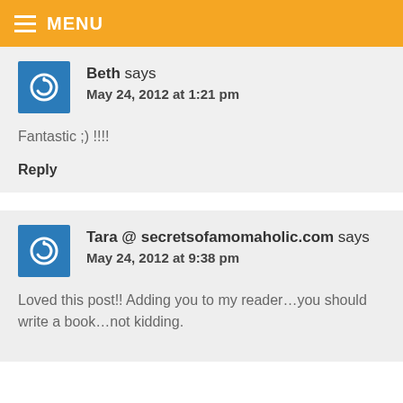MENU
Beth says
May 24, 2012 at 1:21 pm
Fantastic ;) !!!!
Reply
Tara @ secretsofamomaholic.com says
May 24, 2012 at 9:38 pm
Loved this post!! Adding you to my reader…you should write a book…not kidding.